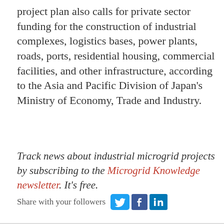project plan also calls for private sector funding for the construction of industrial complexes, logistics bases, power plants, roads, ports, residential housing, commercial facilities, and other infrastructure, according to the Asia and Pacific Division of Japan's Ministry of Economy, Trade and Industry.
Track news about industrial microgrid projects by subscribing to the Microgrid Knowledge newsletter. It's free.
Share with your followers